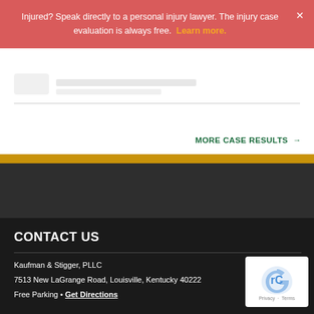Injured? Speak directly to a personal injury lawyer. The injury case evaluation is always free. Learn more.
MORE CASE RESULTS →
CONTACT US
Kaufman & Stigger, PLLC
7513 New LaGrange Road, Louisville, Kentucky 40222
Free Parking • Get Directions